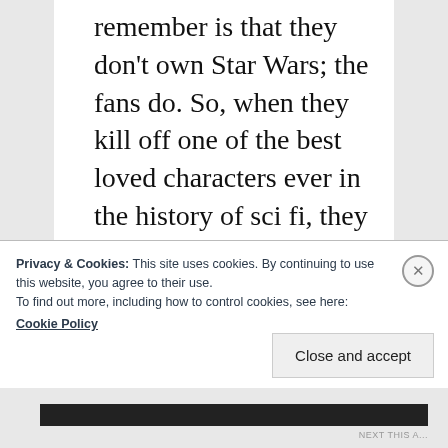remember is that they don't own Star Wars; the fans do. So, when they kill off one of the best loved characters ever in the history of sci fi, they had better have a very good reason to do so and to us, we don't see a good enough reason to approve of Han Solo's unceremonious and
Privacy & Cookies: This site uses cookies. By continuing to use this website, you agree to their use.
To find out more, including how to control cookies, see here:
Cookie Policy